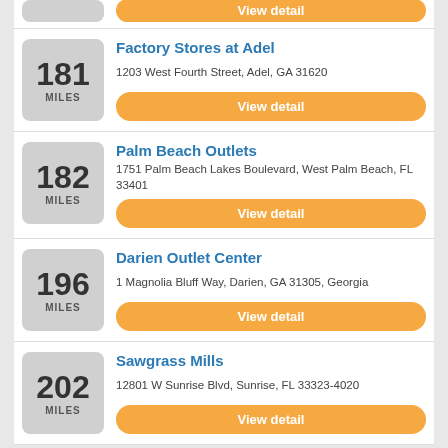181 MILES - Factory Stores at Adel - 1203 West Fourth Street, Adel, GA 31620
182 MILES - Palm Beach Outlets - 1751 Palm Beach Lakes Boulevard, West Palm Beach, FL 33401
196 MILES - Darien Outlet Center - 1 Magnolia Bluff Way, Darien, GA 31305, Georgia
202 MILES - Sawgrass Mills - 12801 W Sunrise Blvd, Sunrise, FL 33323-4020